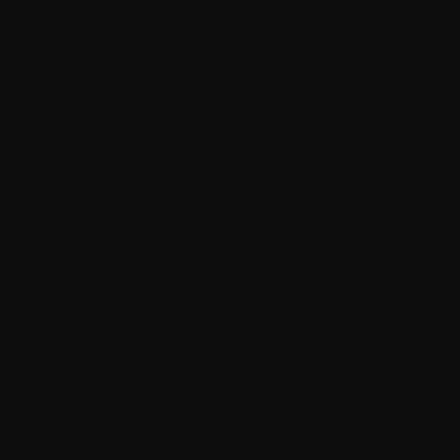http://www.oakleysunglassesia...
http://www.adidasoutlet.us.org
http://www.canadagooseoutlet...
http://www.katespadeshandba...
http://www.longchampoutletoffi...
http://www.canadagooseoutlet...
http://www.pradaoutletstore.us
http://www.coachoutletonlineco...
http://www.canadagooseoutlet...
http://www.ralphlauren-outlets....
http://www.mulberry-handbags...
http://www.outletsugg.us.com
http://www.mont-blancpenss.us...
http://www.canadagoose-outle...
http://www.ralphlaurenpoloouth...
http://www.polo-ralphlaurenuk....
http://www.kate-spadeoutlet.us...
http://www.michaelkorsoutlets....
http://www.michaelkorsoutlet80...
http://www.fredperryoutlet.us.c...
http://www.canadagooseoutlet:...
http://www.canada-gooseoutle...
http://www.edhardyclothing.us....
http://www.pandoracharmssale...
http://www.yeezyboost350.org
http://www.uggsoutletonlinesto...
http://www.oakleysunglassescl...
http://www.coachoutletonlineof...
http://www.moncleroutletofficla...
http://www.michaelkorsoutletor...